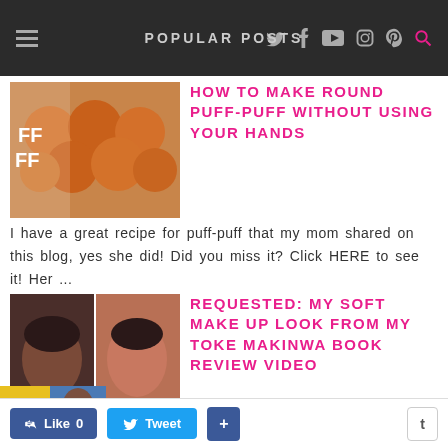POPULAR POSTS
HOW TO MAKE ROUND PUFF-PUFF WITHOUT USING YOUR HANDS
I have a great recipe for puff-puff that my mom shared on this blog, yes she did! Did you miss it? Click HERE to see it! Her ...
REQUESTED: MY SOFT MAKE UP LOOK FROM MY TOKE MAKINWA BOOK REVIEW VIDEO
I've never gotten so many compliments and requests to show how I did my makeup like I did in my  video where I reviewed Toke ...
LIFE IN LAGOS: SISIWEEKLY ® -